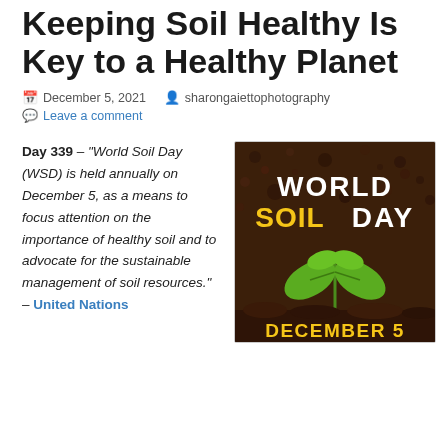Keeping Soil Healthy Is Key to a Healthy Planet
December 5, 2021   sharongaiettophotography   Leave a comment
Day 339 – "World Soil Day (WSD) is held annually on December 5, as a means to focus attention on the importance of healthy soil and to advocate for the sustainable management of soil resources." – United Nations
[Figure (illustration): World Soil Day poster showing dark brown soil background with a small green seedling plant. Text reads 'WORLD SOIL DAY' in white and yellow letters, and 'DECEMBER 5' in yellow at the bottom.]